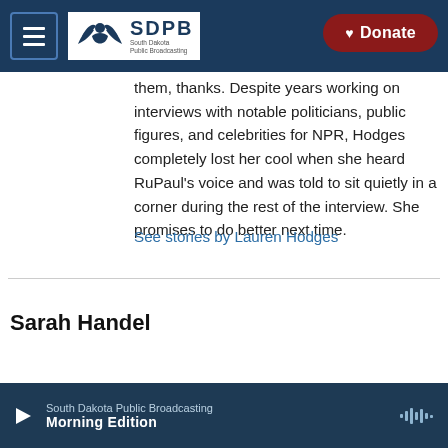SDPB South Dakota Public Broadcasting | Donate
them, thanks. Despite years working on interviews with notable politicians, public figures, and celebrities for NPR, Hodges completely lost her cool when she heard RuPaul's voice and was told to sit quietly in a corner during the rest of the interview. She promises to do better next time.
See stories by Lauren Hodges
Sarah Handel
South Dakota Public Broadcasting | Morning Edition